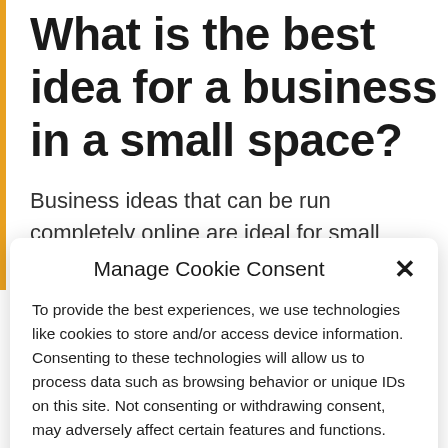What is the best idea for a business in a small space?
Business ideas that can be run completely online are ideal for small spaces. For example, start your
Manage Cookie Consent
To provide the best experiences, we use technologies like cookies to store and/or access device information. Consenting to these technologies will allow us to process data such as browsing behavior or unique IDs on this site. Not consenting or withdrawing consent, may adversely affect certain features and functions.
Accept